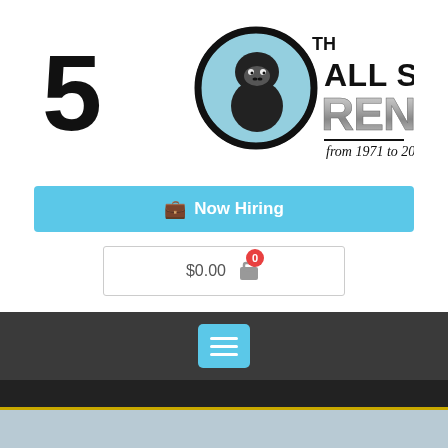[Figure (logo): 50th Anniversary All Seasons Rent-All logo with gorilla mascot, '50 TH ALL SEASONS RENT-ALL from 1971 to 2021']
Now Hiring
$0.00
Search products...
[Figure (screenshot): Dark navigation bar with hamburger menu button and bottom colored strip]